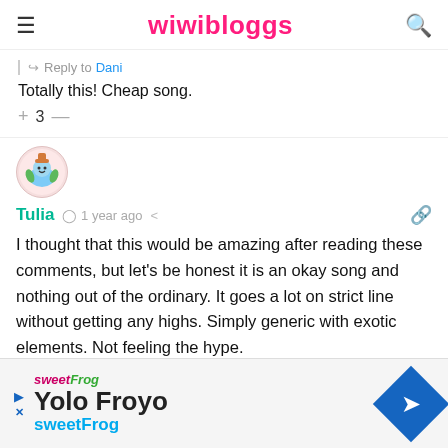wiwibloggs
Reply to Dani
Totally this! Cheap song.
+ 3 —
Tulia  1 year ago
I thought that this would be amazing after reading these comments, but let's be honest it is an okay song and nothing out of the ordinary. It goes a lot on strict line without getting any highs. Simply generic with exotic elements. Not feeling the hype.
[Figure (illustration): Circular avatar with cartoon character illustration for user Tulia]
Yolo Froyo sweetFrog